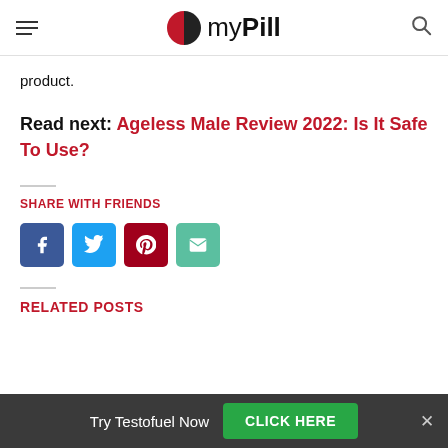myPill
product.
Read next: Ageless Male Review 2022: Is It Safe To Use?
SHARE WITH FRIENDS
[Figure (other): Social share buttons: Facebook, Twitter, Pinterest, Email]
RELATED POSTS
Try Testofuel Now  CLICK HERE